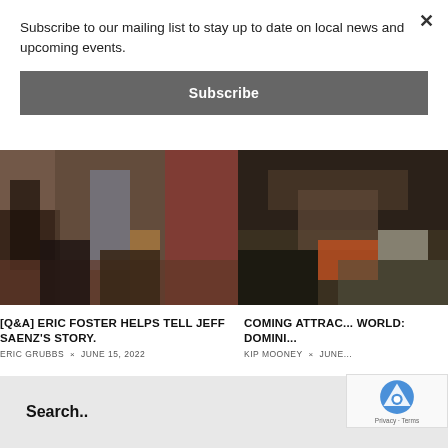Subscribe to our mailing list to stay up to date on local news and upcoming events.
Subscribe
[Figure (photo): Photo of a film crew with cameras and equipment set up in a room with red carpet and colorful walls]
[Q&A] ERIC FOSTER HELPS TELL JEFF SAENZ'S STORY.
ERIC GRUBBS × JUNE 15, 2022
[Figure (photo): Photo of a person's hands on motorcycle handlebars, partial view cropped]
COMING ATTRAC... WORLD: DOMINI...
KIP MOONEY × JUNE...
Search..